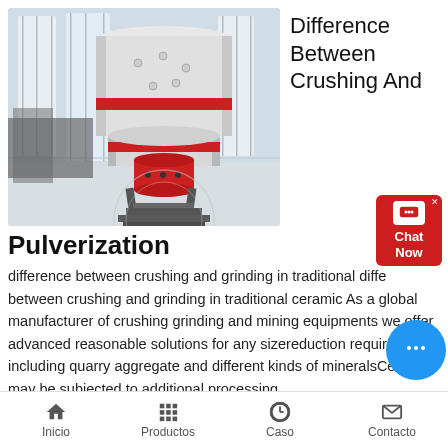[Figure (photo): Industrial grinding/crushing machine (large cylindrical mill) inside a factory building with tall windows. The machine is white with red accent bands and a red bottom drive assembly, mounted on a metal frame.]
Difference Between Crushing And
Pulverization
difference between crushing and grinding in traditional difference between crushing and grinding in traditional ceramic As a global manufacturer of crushing grinding and mining equipments we offer advanced reasonable solutions for any sizereduction requirements including quarry aggregate and different kinds of mineralsCeramics may be subjected to additional processing
Inicio   Productos   Caso   Contacto